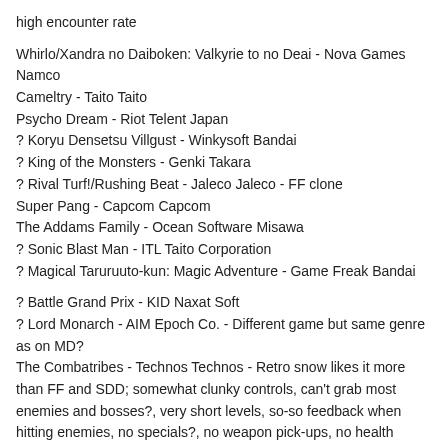high encounter rate
Whirlo/Xandra no Daiboken: Valkyrie to no Deai - Nova Games Namco
Cameltry - Taito Taito
Psycho Dream - Riot Telent Japan
? Koryu Densetsu Villgust - Winkysoft Bandai
? King of the Monsters - Genki Takara
? Rival Turf!/Rushing Beat - Jaleco Jaleco - FF clone
Super Pang - Capcom Capcom
The Addams Family - Ocean Software Misawa
? Sonic Blast Man - ITL Taito Corporation
? Magical Taruruuto-kun: Magic Adventure - Game Freak Bandai
? Battle Grand Prix - KID Naxat Soft
? Lord Monarch - AIM Epoch Co. - Different game but same genre as on MD?
The Combatribes - Technos Technos - Retro snow likes it more than FF and SDD; somewhat clunky controls, can't grab most enemies and bosses?, very short levels, so-so feedback when hitting enemies, no specials?, no weapon pick-ups, no health power ups, bosses can keep